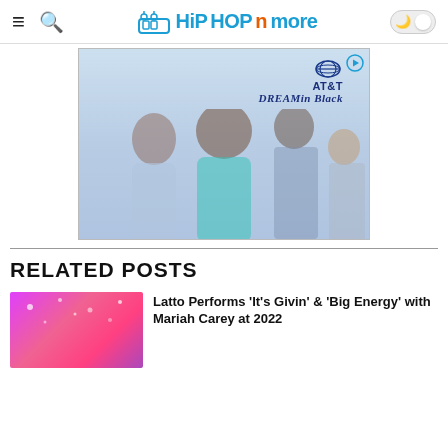HiPHOPnmore
[Figure (photo): AT&T Dream in Black advertisement featuring three women and one man posing together against a light blue background]
RELATED POSTS
[Figure (photo): Thumbnail image of Latto performing on stage with pink background]
Latto Performs 'It's Givin' & 'Big Energy' with Mariah Carey at 2022